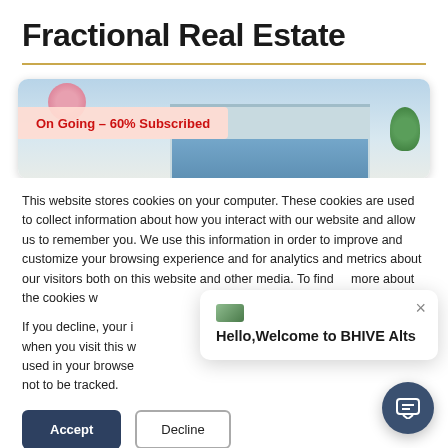Fractional Real Estate
[Figure (photo): Property photo showing a commercial building with blue glass facade, pink cherry blossom tree on the left, green tree on the right, under a clear sky. An 'On Going - 60% Subscribed' badge overlays the lower-left area of the image.]
This website stores cookies on your computer. These cookies are used to collect information about how you interact with our website and allow us to remember you. We use this information in order to improve and customize your browsing experience and for analytics and metrics about our visitors both on this website and other media. To find more about the cookies w
If you decline, your i when you visit this w used in your browse not to be tracked.
Hello,Welcome to BHIVE Alts